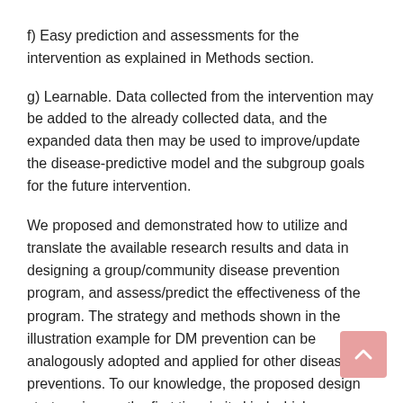f) Easy prediction and assessments for the intervention as explained in Methods section.
g) Learnable. Data collected from the intervention may be added to the already collected data, and the expanded data then may be used to improve/update the disease-predictive model and the subgroup goals for the future intervention.
We proposed and demonstrated how to utilize and translate the available research results and data in designing a group/community disease prevention program, and assess/predict the effectiveness of the program. The strategy and methods shown in the illustration example for DM prevention can be analogously adopted and applied for other diseases preventions. To our knowledge, the proposed design strategy is new the first time in its kind which represents a novel frame work for the utilization and